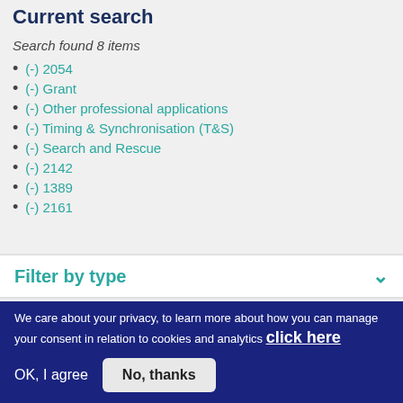Current search
Search found 8 items
(-) 2054
(-) Grant
(-) Other professional applications
(-) Timing & Synchronisation (T&S)
(-) Search and Rescue
(-) 2142
(-) 1389
(-) 2161
Filter by type
We care about your privacy, to learn more about how you can manage your consent in relation to cookies and analytics click here
OK, I agree  No, thanks